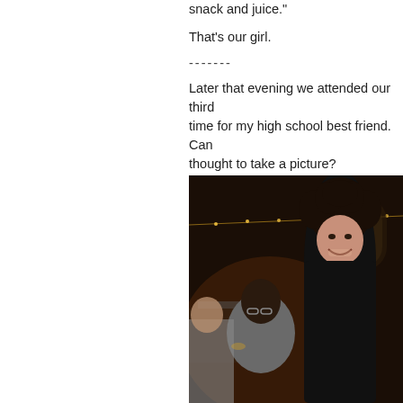snack and juice."
That's our girl.
-------
Later that evening we attended our third time for my high school best friend. Can thought to take a picture?
[Figure (photo): Two women smiling at a wedding reception, dark indoor setting with string lights and tables in background, one woman has curly dark hair and is wearing a black top]